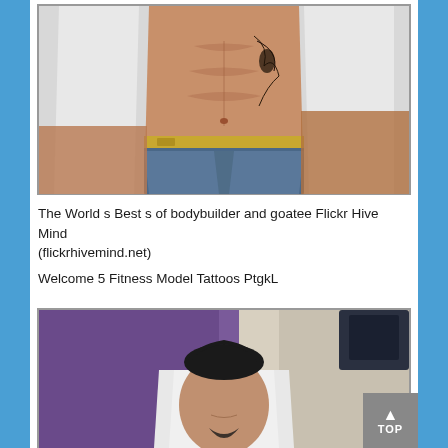[Figure (photo): Photo of a man with an open white shirt showing his torso and abs with a tattoo on his side, wearing wet jeans, with water/dark background]
The World s Best s of bodybuilder and goatee Flickr Hive Mind (flickrhivemind.net)
Welcome 5 Fitness Model Tattoos PtgkL
[Figure (photo): Photo of a man with dark hair and a goatee, wearing a white shirt, with purple and white background, partially visible face/head shot]